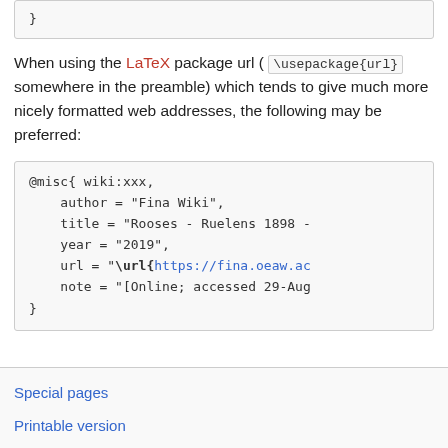}
When using the LaTeX package url ( \usepackage{url} somewhere in the preamble) which tends to give much more nicely formatted web addresses, the following may be preferred:
@misc{ wiki:xxx,
    author = "Fina Wiki",
    title = "Rooses - Ruelens 1898 -
    year = "2019",
    url = "\url{https://fina.oeaw.ac
    note = "[Online; accessed 29-Aug
}
Special pages
Printable version